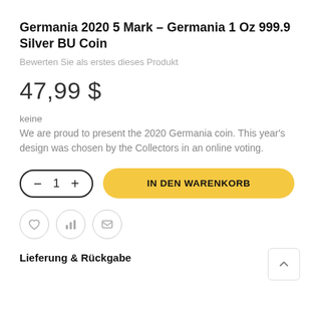Germania 2020 5 Mark – Germania 1 Oz 999.9 Silver BU Coin
Bewerten Sie als erstes dieses Produkt
47,99 $
keine
We are proud to present the 2020 Germania coin. This year's design was chosen by the Collectors in an online voting.
[Figure (other): Quantity selector with minus and plus buttons showing value 1, and a yellow 'IN DEN WARENKORB' add-to-cart button]
[Figure (other): Row of three icon buttons: heart (wishlist), bar chart, envelope (email)]
Lieferung & Rückgabe